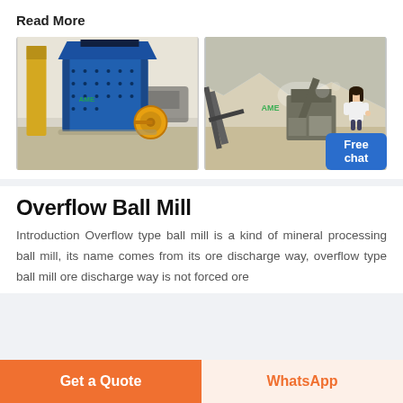Read More
[Figure (photo): Blue industrial impact crusher/hammer mill machine in a warehouse setting with yellow flywheel, branded with AME logo]
[Figure (photo): Outdoor quarry/mining site with conveyor belts and crushing equipment, mountains in background, branded with AME logo]
Overflow Ball Mill
Introduction Overflow type ball mill is a kind of mineral processing ball mill, its name comes from its ore discharge way, overflow type ball mill ore discharge way is not forced ore
Get a Quote | WhatsApp